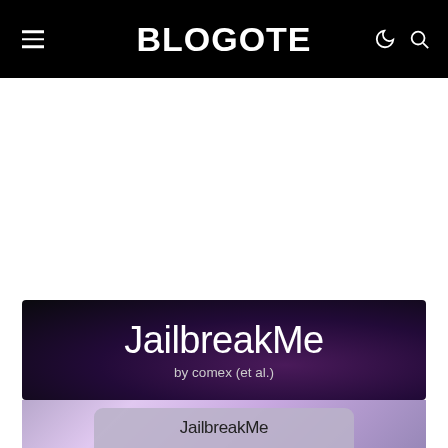BLOGOTE
[Figure (screenshot): JailbreakMe splash screen showing 'JailbreakMe by comex (et al.)' on a dark purple/black background with a macOS desktop screenshot below]
[Figure (screenshot): Bottom portion showing a rounded rectangle button with 'JailbreakMe' text on a colorful galaxy/nebula desktop background]